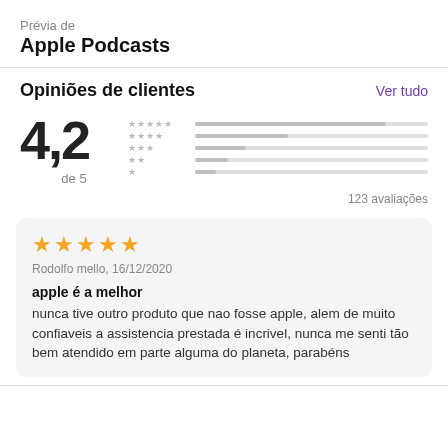Prévia de
Apple Podcasts
Opiniões de clientes
Ver tudo
4,2
de 5
123 avaliações
★★★★★
Rodolfo mello, 16/12/2020
apple é a melhor
nunca tive outro produto que nao fosse apple, alem de muito confiaveis a assistencia prestada é incrivel, nunca me senti tão bem atendido em parte alguma do planeta, parabéns